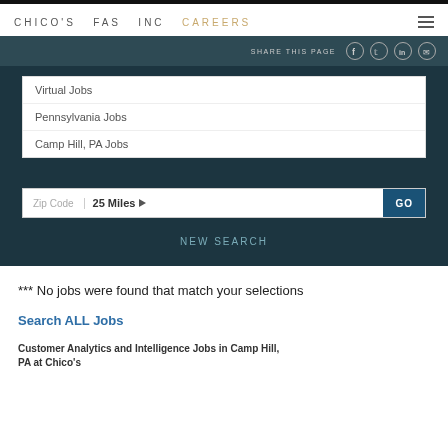CHICO'S FAS INC CAREERS
Virtual Jobs
Pennsylvania Jobs
Camp Hill, PA Jobs
Zip Code   25 Miles   GO
NEW SEARCH
*** No jobs were found that match your selections
Search ALL Jobs
Customer Analytics and Intelligence Jobs in Camp Hill, PA at Chico's